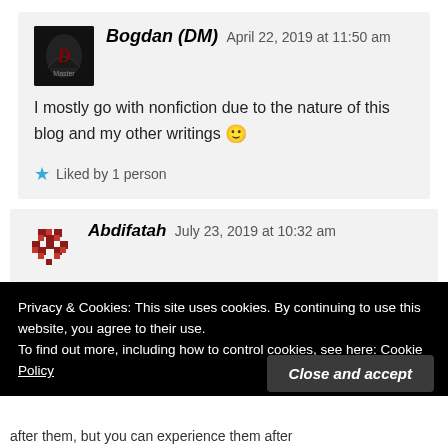Bogdan (DM)   April 22, 2019 at 11:50 am
I mostly go with nonfiction due to the nature of this blog and my other writings 🙂
Liked by 1 person
Abdifatah   July 23, 2019 at 10:32 am
Privacy & Cookies: This site uses cookies. By continuing to use this website, you agree to their use.
To find out more, including how to control cookies, see here: Cookie Policy
Close and accept
after them, but you can experience them after